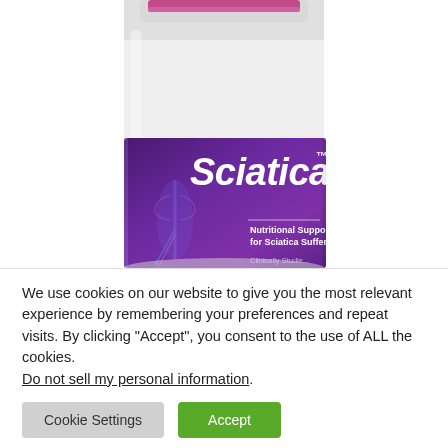[Figure (photo): A white supplement bottle labeled 'Sciaticare™ — Nutritional Support for Sciatica Sufferers*' with a purple label featuring an anatomical figure. The bottle cap is pink/magenta. Only the lower portion of the bottle is visible, cropped at the top.]
We use cookies on our website to give you the most relevant experience by remembering your preferences and repeat visits. By clicking "Accept", you consent to the use of ALL the cookies. Do not sell my personal information.